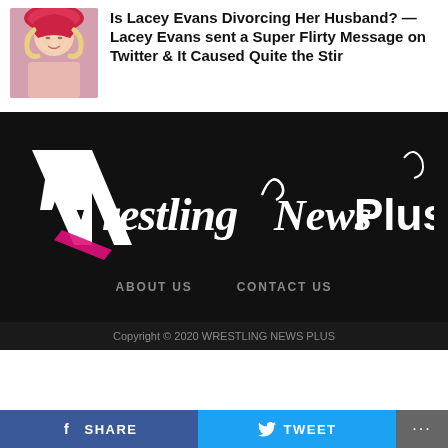[Figure (photo): Thumbnail photo of a blonde woman wearing a red hat]
Is Lacey Evans Divorcing Her Husband? — Lacey Evans sent a Super Flirty Message on Twitter & It Caused Quite the Stir
[Figure (logo): Wrestling News Plus logo in white script on black background with pink accent]
ABOUT US    CONTACT US
Copyright © 2020 WRESTLING NEWS PLUS
SHARE
TWEET